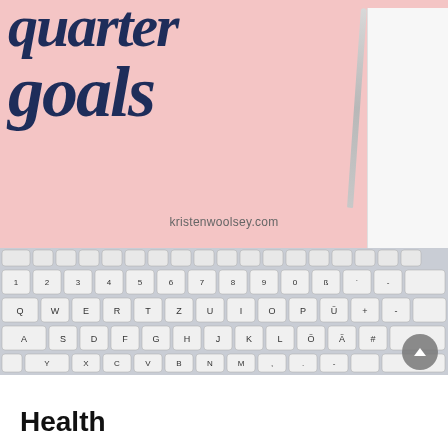[Figure (photo): Photo of a pink desk mat with script text reading 'quarter goals' and website 'kristenwoolsey.com', a white keyboard, a pen, and a white notebook visible on the right side. A grey circular scroll-to-top button is visible in the bottom right of the image.]
Health